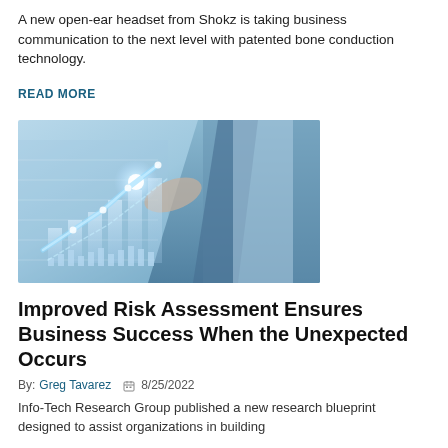A new open-ear headset from Shokz is taking business communication to the next level with patented bone conduction technology.
READ MORE
[Figure (photo): A person in a business suit touching a holographic digital chart/graph display showing upward trending data visualization with glowing light effects]
Improved Risk Assessment Ensures Business Success When the Unexpected Occurs
By: Greg Tavarez  8/25/2022
Info-Tech Research Group published a new research blueprint designed to assist organizations in building